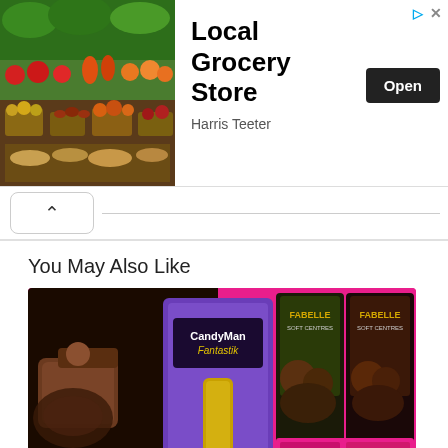[Figure (photo): Advertisement banner showing a grocery store produce section photo on the left, with 'Local Grocery Store' title, 'Harris Teeter' subtitle, and an 'Open' button on the right.]
[Figure (screenshot): Collapse/chevron-up button UI element]
You May Also Like
[Figure (photo): Collage image showing chocolate brands: CandyMan Fantastik and Fabelle Soft Centres products on a pink background.]
12 Popular Brands of Chocolates and Confectionery In India
[Figure (photo): Partial image of a honey jar with a spoon, bottom of page.]